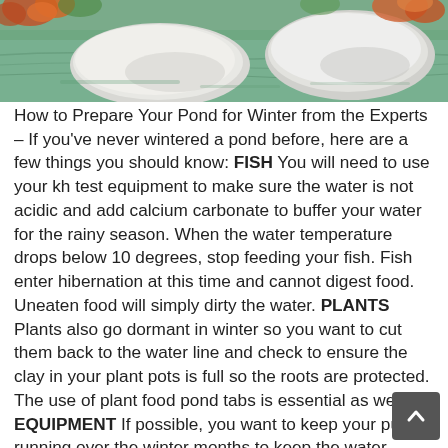[Figure (photo): Photo of a pond or stream with rocks, green water, and colorful autumn foliage visible at the edges.]
How to Prepare Your Pond for Winter from the Experts – If you've never wintered a pond before, here are a few things you should know: FISH You will need to use your kh test equipment to make sure the water is not acidic and add calcium carbonate to buffer your water for the rainy season. When the water temperature drops below 10 degrees, stop feeding your fish. Fish enter hibernation at this time and cannot digest food. Uneaten food will simply dirty the water. PLANTS Plants also go dormant in winter so you want to cut them back to the water line and check to ensure the clay in your plant pots is full so the roots are protected. The use of plant food pond tabs is essential as well. EQUIPMENT If possible, you want to keep your pump running over the winter months to keep the water moving. Before the cold sets in, ensure your filter is clean and then cover it with some insulation and a tarp to prevent it from freezing. If you have UV lighting, remove and store inside for the winter season. How to Prepare Your Pond for Winter from the Experts sa...